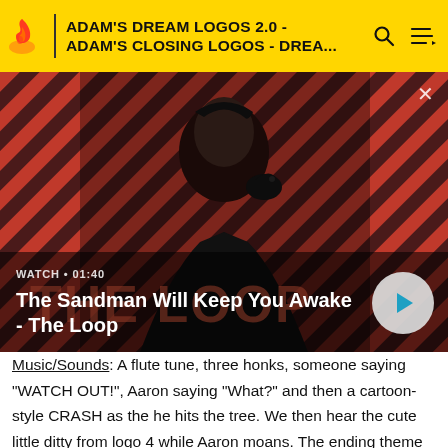ADAM'S DREAM LOGOS 2.0 - ADAM'S CLOSING LOGOS - DREA...
[Figure (screenshot): Video thumbnail showing a dark-robed figure with a raven on shoulder against a red diagonal-striped background, with 'THE LOOP' text overlaid. Title: 'The Sandman Will Keep You Awake - The Loop'. Watch duration: 01:40. Play button visible.]
Music/Sounds: A flute tune, three honks, someone saying "WATCH OUT!", Aaron saying "What?" and then a cartoon-style CRASH as the he hits the tree. We then hear the cute little ditty from logo 4 while Aaron moans. The ending theme could play over it.